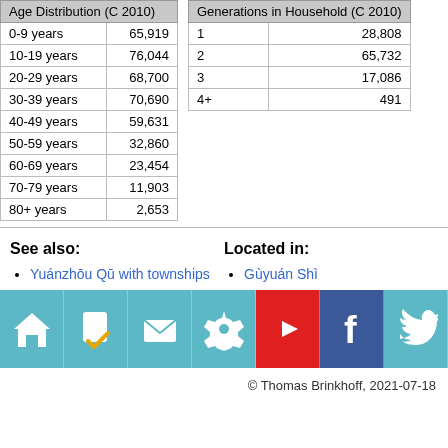| Age Distribution (C 2010) |  |
| --- | --- |
| 0-9 years | 65,919 |
| 10-19 years | 76,044 |
| 20-29 years | 68,700 |
| 30-39 years | 70,690 |
| 40-49 years | 59,631 |
| 50-59 years | 32,860 |
| 60-69 years | 23,454 |
| 70-79 years | 11,903 |
| 80+ years | 2,653 |
| Generations in Household (C 2010) |  |
| --- | --- |
| 1 | 28,808 |
| 2 | 65,732 |
| 3 | 17,086 |
| 4+ | 491 |
See also:
Yuánzhōu Qū with townships
Located in:
Gùyuán Shì
[Figure (infographic): Icon bar with home, document, mail, settings, YouTube, Facebook, Twitter icons]
© Thomas Brinkhoff, 2021-07-18